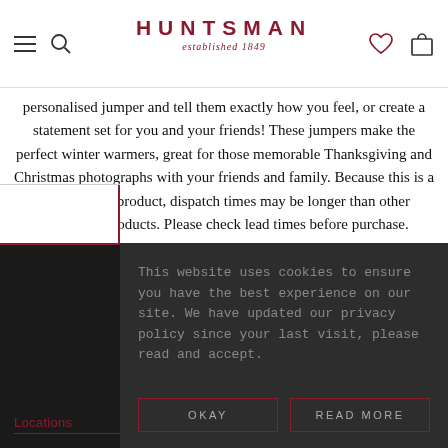HUNTSMAN established 1849
personalised jumper and tell them exactly how you feel, or create a statement set for you and your friends! These jumpers make the perfect winter warmers, great for those memorable Thanksgiving and Christmas photographs with your friends and family. Because this is a personalised product, dispatch times may be longer than other Huntsman products. Please check lead times before purchase.
This website uses cookies to ensure you have the best experience on our site. We have updated our privacy policy since your last visit, please read and accept.
OKAY
READ MORE
Locations